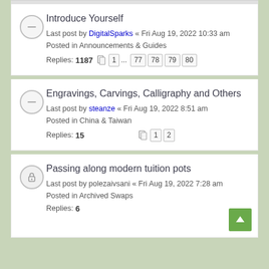Introduce Yourself
Last post by DigitalSparks « Fri Aug 19, 2022 10:33 am
Posted in Announcements & Guides
Replies: 1187  1 ... 77 78 79 80
Engravings, Carvings, Calligraphy and Others
Last post by steanze « Fri Aug 19, 2022 8:51 am
Posted in China & Taiwan
Replies: 15  1 2
Passing along modern tuition pots
Last post by polezaivsani « Fri Aug 19, 2022 7:28 am
Posted in Archived Swaps
Replies: 6